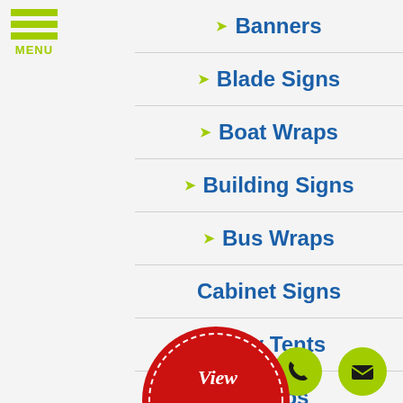[Figure (logo): Hamburger menu icon with three green bars and MENU label]
Banners
Blade Signs
Boat Wraps
Building Signs
Bus Wraps
Cabinet Signs
Canopy Tents
Car Wraps
Channel Letters
[Figure (illustration): Red seal badge with white italic text 'View Sign Gallery' and gold ribbon banner reading 'CLICK HERE']